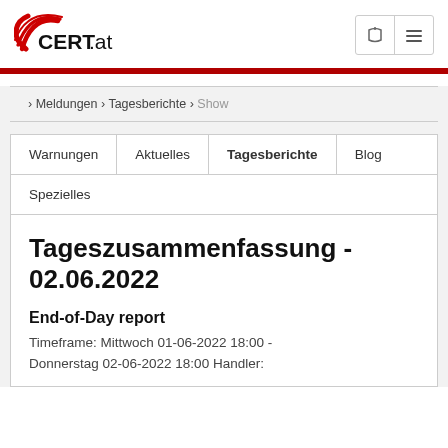[Figure (logo): CERT.at logo with red swoosh graphic and black text]
Meldungen › Tagesberichte › Show
Warnungen | Aktuelles | Tagesberichte | Blog | Spezielles
Tageszusammenfassung - 02.06.2022
End-of-Day report
Timeframe: Mittwoch 01-06-2022 18:00 - Donnerstag 02-06-2022 18:00 Handler: